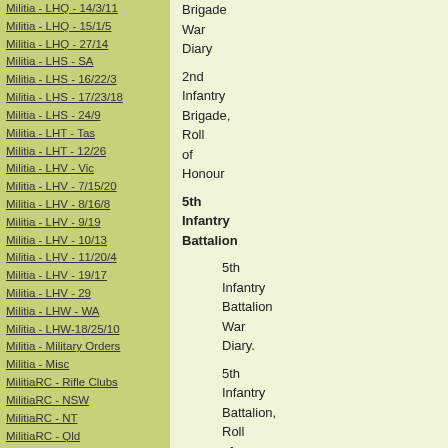Militia - LHQ - 14/3/11
Militia - LHQ - 15/1/5
Militia - LHQ - 27/14
Militia - LHS - SA
Militia - LHS - 16/22/3
Militia - LHS - 17/23/18
Militia - LHS - 24/9
Militia - LHT - Tas
Militia - LHT - 12/26
Militia - LHV - Vic
Militia - LHV - 7/15/20
Militia - LHV - 8/16/8
Militia - LHV - 9/19
Militia - LHV - 10/13
Militia - LHV - 11/20/4
Militia - LHV - 19/17
Militia - LHV - 29
Militia - LHW - WA
Militia - LHW-18/25/10
Militia - Military Orders
Militia - Misc
MilitiaRC - Rifle Clubs
MilitiaRC - NSW
MilitiaRC - NT
MilitiaRC - Qld
MilitiaRC - SA
MilitiaRC - Tas
MilitiaRC - Vic
Brigade War Diary

2nd Infantry Brigade, Roll of Honour

5th Infantry Battalion

5th Infantry Battalion War Diary.

5th Infantry Battalion, Roll of Honour

6th Infantry